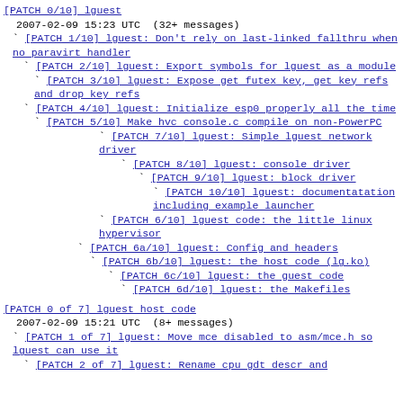[PATCH 0/10] lguest
2007-02-09 15:23 UTC  (32+ messages)
` [PATCH 1/10] lguest: Don't rely on last-linked fallthru when no paravirt handler
` [PATCH 2/10] lguest: Export symbols for lguest as a module
` [PATCH 3/10] lguest: Expose get futex key, get key refs and drop key refs
` [PATCH 4/10] lguest: Initialize esp0 properly all the time
` [PATCH 5/10] Make hvc console.c compile on non-PowerPC
` [PATCH 7/10] lguest: Simple lguest network driver
` [PATCH 8/10] lguest: console driver
` [PATCH 9/10] lguest: block driver
` [PATCH 10/10] lguest: documentatation including example launcher
` [PATCH 6/10] lguest code: the little linux hypervisor
` [PATCH 6a/10] lguest: Config and headers
` [PATCH 6b/10] lguest: the host code (lg.ko)
` [PATCH 6c/10] lguest: the guest code
` [PATCH 6d/10] lguest: the Makefiles
[PATCH 0 of 7] lguest host code
2007-02-09 15:21 UTC  (8+ messages)
` [PATCH 1 of 7] lguest: Move mce disabled to asm/mce.h so lguest can use it
` [PATCH 2 of 7] lguest: Rename cpu gdt descr and